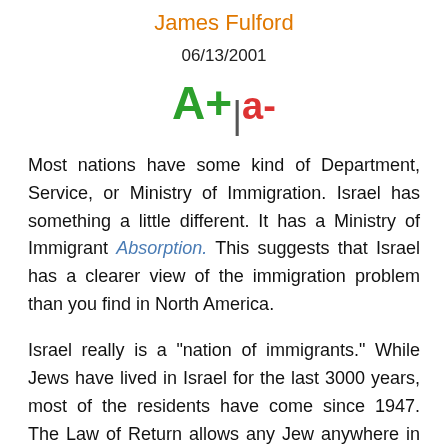James Fulford
06/13/2001
[Figure (other): Font size control UI showing A+ and a- buttons]
Most nations have some kind of Department, Service, or Ministry of Immigration. Israel has something a little different. It has a Ministry of Immigrant Absorption. This suggests that Israel has a clearer view of the immigration problem than you find in North America.
Israel really is a "nation of immigrants." While Jews have lived in Israel for the last 3000 years, most of the residents have come since 1947. The Law of Return allows any Jew anywhere in the world to move to Israel, and Israel will be glad to help them move in.
But it insists that they assimilate.
The Diaspora sent Jews to every corner of the globe.